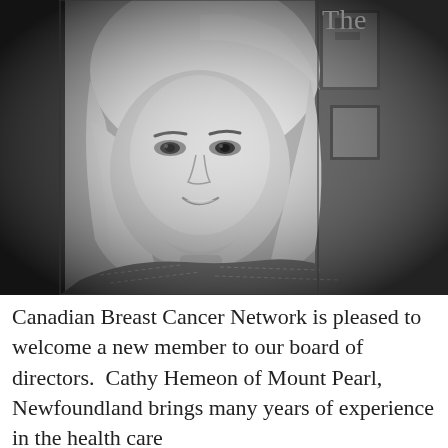The
[Figure (photo): Black and white portrait photo of a woman with blonde bob haircut, smiling slightly, wearing a patterned top, with framed pictures visible in the background.]
Canadian Breast Cancer Network is pleased to welcome a new member to our board of directors.  Cathy Hemeon of Mount Pearl, Newfoundland brings many years of experience in the health care